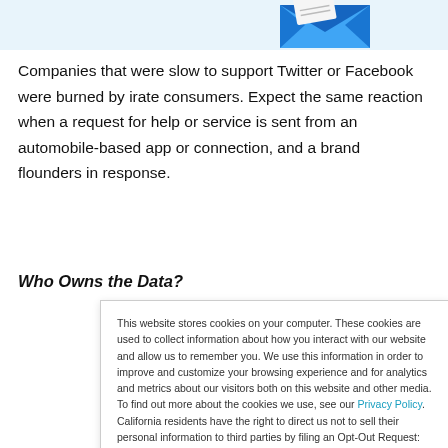[Figure (illustration): Partial top banner with light blue background showing a blue envelope/mail icon graphic]
Companies that were slow to support Twitter or Facebook were burned by irate consumers. Expect the same reaction when a request for help or service is sent from an automobile-based app or connection, and a brand flounders in response.
Who Owns the Data?
This website stores cookies on your computer. These cookies are used to collect information about how you interact with our website and allow us to remember you. We use this information in order to improve and customize your browsing experience and for analytics and metrics about our visitors both on this website and other media. To find out more about the cookies we use, see our Privacy Policy. California residents have the right to direct us not to sell their personal information to third parties by filing an Opt-Out Request: Do Not Sell My Personal Info.
Accept